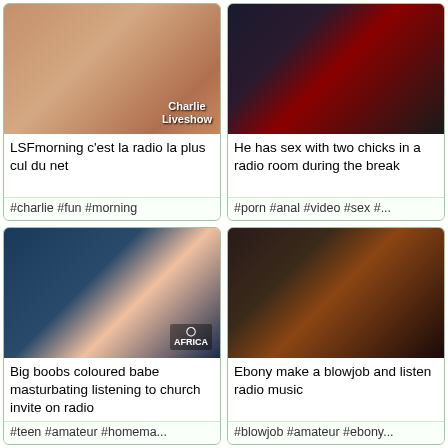[Figure (photo): Close-up thumbnail image with Charlie Liveshow watermark]
LSFmorning c&#039_est la radio la plus cul du net
#charlie #fun #morning
[Figure (photo): Three people in a radio room setting]
He has sex with two chicks in a radio room during the break
#porn #anal #video #sex #...
[Figure (photo): AFRICA watermark thumbnail]
Big boobs coloured babe masturbating listening to church invite on radio
#teen #amateur #homema...
[Figure (photo): Dark thumbnail of person]
Ebony make a blowjob and listen radio music
#blowjob #amateur #ebony...